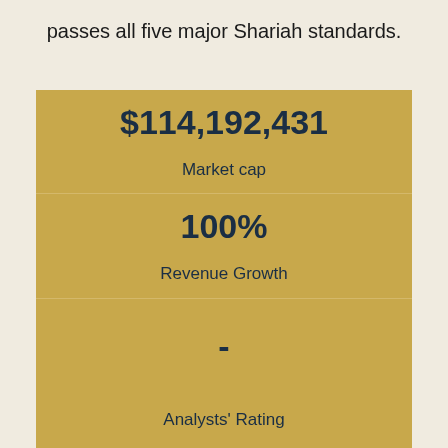passes all five major Shariah standards.
| Metric | Value |
| --- | --- |
| Market cap | $114,192,431 |
| Revenue Growth | 100% |
| Analysts' Rating | - |